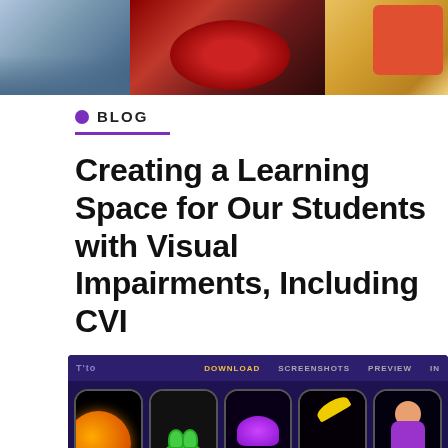[Figure (photo): Three photos at top: child with blue background, red fabric/clothing close-up, orange/red calculator or game with numbers]
BLOG
Creating a Learning Space for Our Students with Visual Impairments, Including CVI
[Figure (screenshot): Screenshot of an app interface showing a dark purple navigation bar with DOWNLOAD, SCREENSHOTS, PREVIEW, IN labels, and five phone mockups displaying colorful high-contrast images on black backgrounds: planets, frog, jellyfish, monkey with banana, and a child character]